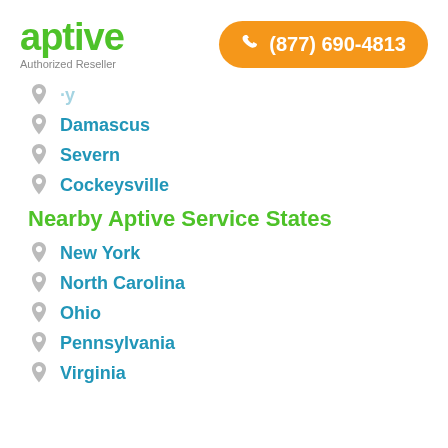[Figure (logo): Aptive green logo with 'Authorized Reseller' text below]
[Figure (other): Orange pill-shaped button with phone icon and number (877) 690-4813]
Damascus
Severn
Cockeysville
Nearby Aptive Service States
New York
North Carolina
Ohio
Pennsylvania
Virginia